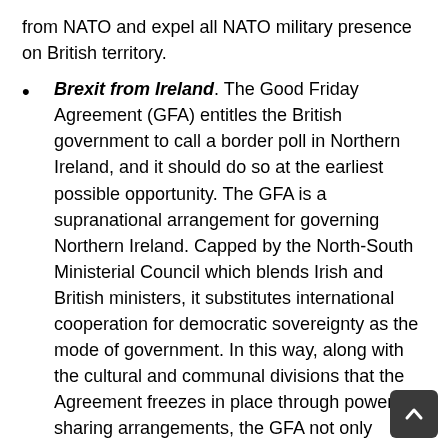from NATO and expel all NATO military presence on British territory.
Brexit from Ireland. The Good Friday Agreement (GFA) entitles the British government to call a border poll in Northern Ireland, and it should do so at the earliest possible opportunity. The GFA is a supranational arrangement for governing Northern Ireland. Capped by the North-South Ministerial Council which blends Irish and British ministers, it substitutes international cooperation for democratic sovereignty as the mode of government. In this way, along with the cultural and communal divisions that the Agreement freezes in place through power-sharing arrangements, the GFA not only deprives the peoples of Northern Ireland of political self-sufficiency, it also deprives them of meaningful political representation in both Britain and Ireland. The reason that Britain conceded to the GFA in the first place was because British rule was impossib to sustain in Northern Ireland without an indefin